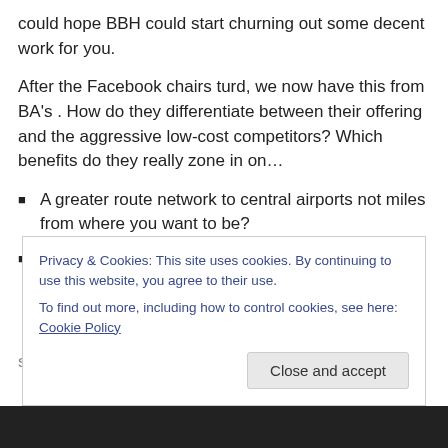could hope BBH could start churning out some decent work for you.
After the Facebook chairs turd, we now have this from BA's . How do they differentiate between their offering and the aggressive low-cost competitors? Which benefits do they really zone in on…
A greater route network to central airports not miles from where you want to be?
A focus on their generous Air Miles (well, Avios)
scheme that means the more often you fly, the greater
Privacy & Cookies: This site uses cookies. By continuing to use this website, you agree to their use.
To find out more, including how to control cookies, see here: Cookie Policy